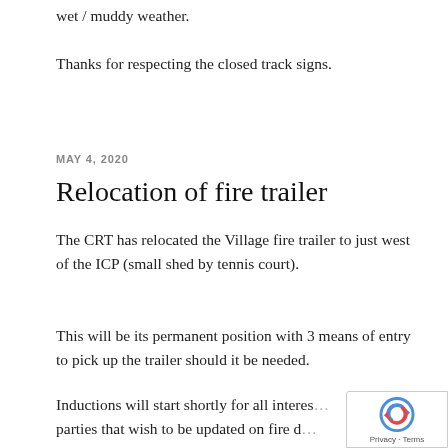wet / muddy weather.
Thanks for respecting the closed track signs.
MAY 4, 2020
Relocation of fire trailer
The CRT has relocated the Village fire trailer to just west of the ICP (small shed by tennis court).
This will be its permanent position with 3 means of entry to pick up the trailer should it be needed.
Inductions will start shortly for all interes… parties that wish to be updated on fire d…